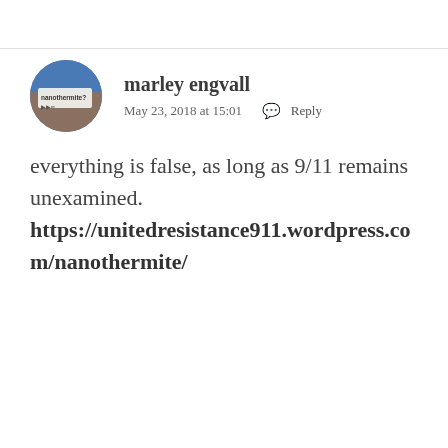[Figure (photo): Circular avatar photo of a person holding a sign that reads 'nanothermite?' with some text below it. Background appears to be blue/indoor setting.]
marley engvall
May 23, 2018 at 15:01   Reply
everything is false, as long as 9/11 remains unexamined.
https://unitedresistance911.wordpress.com/nanothermite/